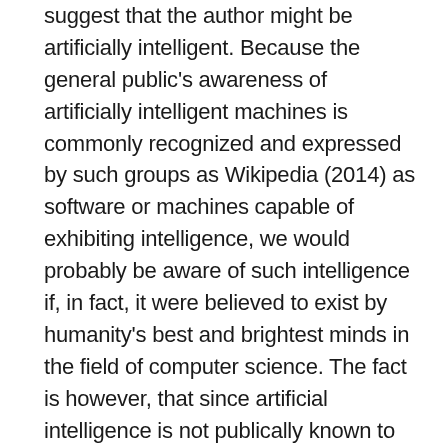suggest that the author might be artificially intelligent. Because the general public's awareness of artificially intelligent machines is commonly recognized and expressed by such groups as Wikipedia (2014) as software or machines capable of exhibiting intelligence, we would probably be aware of such intelligence if, in fact, it were believed to exist by humanity's best and brightest minds in the field of computer science. The fact is however, that since artificial intelligence is not publically known to exist, we can objectively rule out with near absolute certitude, but not absolutely, that the question was not presented by artificial intelligence.